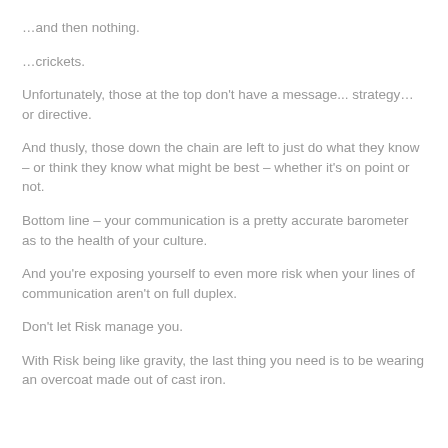…and then nothing.
…crickets.
Unfortunately, those at the top don't have a message... strategy… or directive.
And thusly, those down the chain are left to just do what they know – or think they know what might be best – whether it's on point or not.
Bottom line – your communication is a pretty accurate barometer as to the health of your culture.
And you're exposing yourself to even more risk when your lines of communication aren't on full duplex.
Don't let Risk manage you.
With Risk being like gravity, the last thing you need is to be wearing an overcoat made out of cast iron.